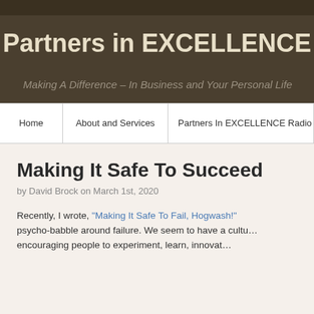Partners in EXCELLENCE Blog
Making A Difference – In Business and Your Personal Life
Home | About and Services | Partners In EXCELLENCE Radio A…
Making It Safe To Succeed
by David Brock on March 1st, 2020
Recently, I wrote, “Making It Safe To Fail, Hogwash!” psycho-babble around failure. We seem to have a cultu… encouraging people to experiment, learn, innovat…